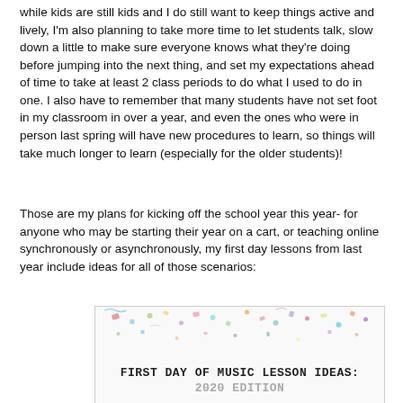while kids are still kids and I do still want to keep things active and lively, I'm also planning to take more time to let students talk, slow down a little to make sure everyone knows what they're doing before jumping into the next thing, and set my expectations ahead of time to take at least 2 class periods to do what I used to do in one. I also have to remember that many students have not set foot in my classroom in over a year, and even the ones who were in person last spring will have new procedures to learn, so things will take much longer to learn (especially for the older students)!
Those are my plans for kicking off the school year this year- for anyone who may be starting their year on a cart, or teaching online synchronously or asynchronously, my first day lessons from last year include ideas for all of those scenarios:
[Figure (illustration): Decorative image with colorful confetti elements at the top and text reading 'FIRST DAY OF MUSIC LESSON IDEAS: 2020 EDITION' in a centered layout with a white background.]